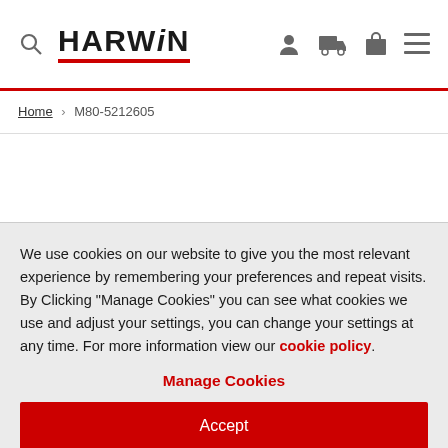HARWIN — navigation header with search, logo, user, cart, basket, menu icons
Home > M80-5212605
We use cookies on our website to give you the most relevant experience by remembering your preferences and repeat visits. By Clicking "Manage Cookies" you can see what cookies we use and adjust your settings, you can change your settings at any time. For more information view our cookie policy.
Manage Cookies
Accept